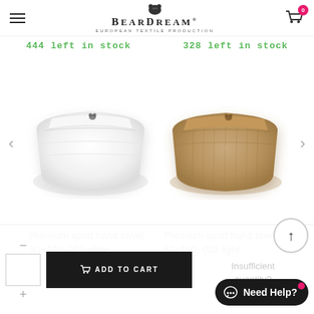BearDream - European Textile Production
444 left in stock
328 left in stock
[Figure (photo): Folded white premium sport hand towel with small bear logo]
[Figure (photo): Folded light beige/camel premium sport hand towel]
Premium sport hand towel, 50×100, 001 white
Premium sport hand towel, 50×100, 005 light
Insufficient quantity?
We will help you!
ADD TO CART
Need Help?